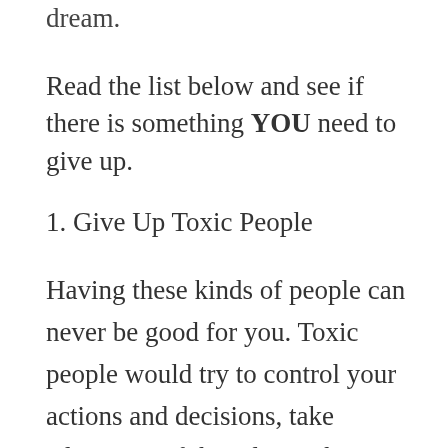dream.
Read the list below and see if there is something YOU need to give up.
1. Give Up Toxic People
Having these kinds of people can never be good for you. Toxic people would try to control your actions and decisions, take advantage of the relationship you have and would be dishonest in most situations.